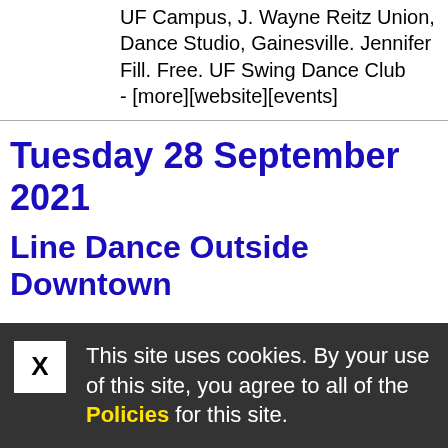UF Campus, J. Wayne Reitz Union, Dance Studio, Gainesville. Jennifer Fill. Free. UF Swing Dance Club - [more][website][events]
Tuesday 28 September 2021
Line Dance Outside Downtown
This site uses cookies. By your use of this site, you agree to all of the Policies for this site.